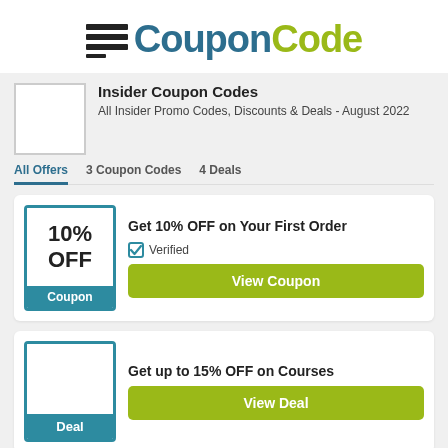[Figure (logo): CouponCode logo with menu icon, teal 'Coupon' and green 'Code' text]
Insider Coupon Codes
All Insider Promo Codes, Discounts & Deals - August 2022
All Offers   3 Coupon Codes   4 Deals
Get 10% OFF on Your First Order
Verified
View Coupon
Get up to 15% OFF on Courses
View Deal